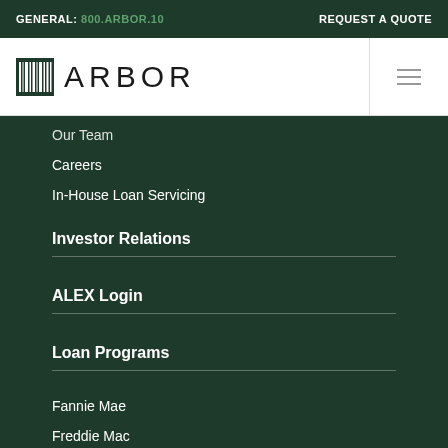GENERAL: 800.ARBOR.10    REQUEST A QUOTE
[Figure (logo): Arbor company logo with barcode-style icon and ARBOR wordmark]
Our Team
Careers
In-House Loan Servicing
Investor Relations
ALEX Login
Loan Programs
Fannie Mae
Freddie Mac